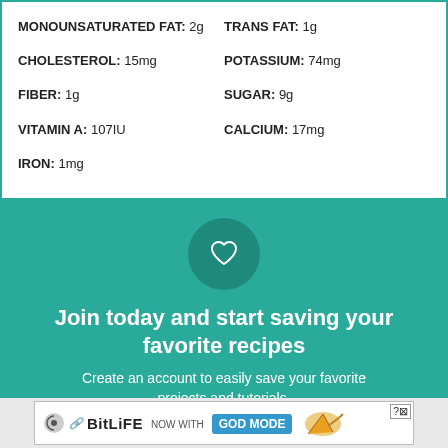MONOUNSATURATED FAT: 2g
TRANS FAT: 1g
CHOLESTEROL: 15mg
POTASSIUM: 74mg
FIBER: 1g
SUGAR: 9g
VITAMIN A: 107IU
CALCIUM: 17mg
IRON: 1mg
[Figure (infographic): Teal circular section with a heart icon, call-to-action text 'Join today and start saving your favorite recipes' and subtitle 'Create an account to easily save your favorite projects and tutorials']
Join today and start saving your favorite recipes
Create an account to easily save your favorite projects and tutorials.
[Figure (screenshot): Advertisement banner for BitLife game with 'NOW WITH GOD MODE' text and pointing hand graphic]